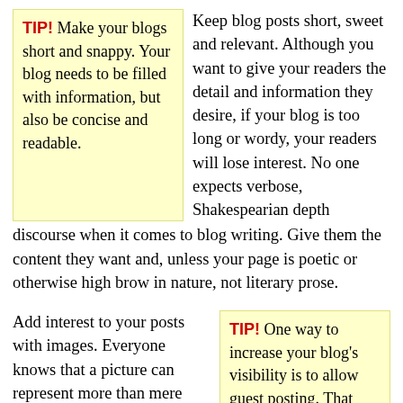TIP! Make your blogs short and snappy. Your blog needs to be filled with information, but also be concise and readable.
Keep blog posts short, sweet and relevant. Although you want to give your readers the detail and information they desire, if your blog is too long or wordy, your readers will lose interest. No one expects verbose, Shakespearian depth discourse when it comes to blog writing. Give them the content they want and, unless your page is poetic or otherwise high brow in nature, not literary prose.
Add interest to your posts with images. Everyone knows that a picture can represent more than mere words. This is extremely true in running a blog. Pictures often communicate message more easily then just words. You want to
TIP! One way to increase your blog's visibility is to allow guest posting. That way, you can establish a strong rapport with readers and other